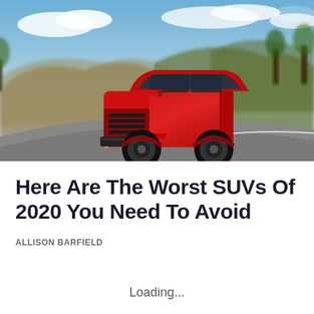[Figure (photo): A red Jeep Compass SUV driving on a winding road with blurred motion background showing hills, trees, and blue sky with clouds.]
Here Are The Worst SUVs Of 2020 You Need To Avoid
ALLISON BARFIELD
Loading...